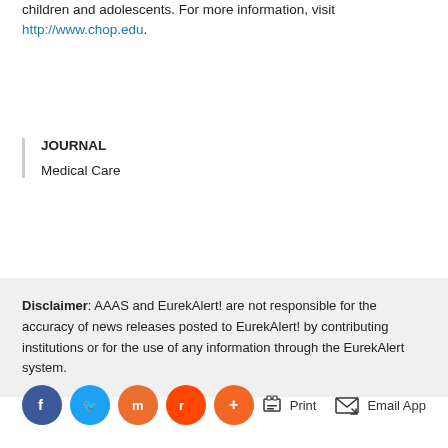children and adolescents. For more information, visit http://www.chop.edu.
JOURNAL
Medical Care
Disclaimer: AAAS and EurekAlert! are not responsible for the accuracy of news releases posted to EurekAlert! by contributing institutions or for the use of any information through the EurekAlert system.
[Figure (other): Social sharing buttons: Facebook, Twitter, Mix, Reddit, plus button, and action buttons: Print, Email App]